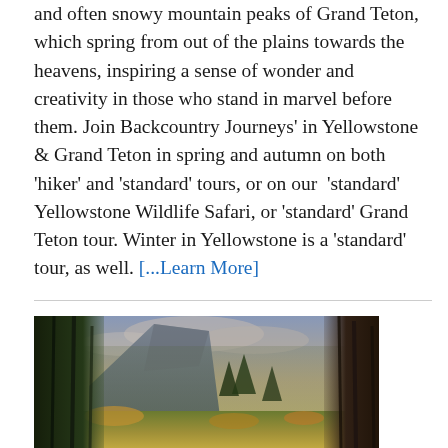and often snowy mountain peaks of Grand Teton, which spring from out of the plains towards the heavens, inspiring a sense of wonder and creativity in those who stand in marvel before them. Join Backcountry Journeys' in Yellowstone & Grand Teton in spring and autumn on both 'hiker' and 'standard' tours, or on our 'standard' Yellowstone Wildlife Safari, or 'standard' Grand Teton tour. Winter in Yellowstone is a 'standard' tour, as well. [...Learn More]
[Figure (photo): Landscape photo of a mountain valley with tall trees on both sides, a large cliff or rock face visible in the background, and autumn foliage in the foreground under a dramatic cloudy sky.]